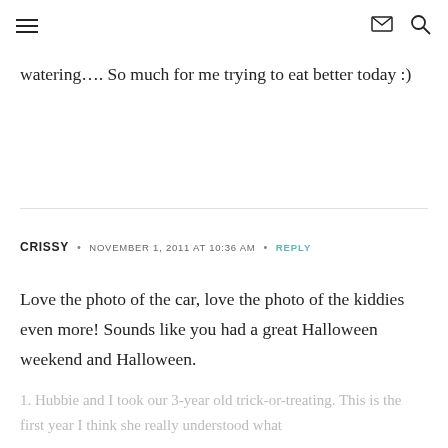≡  ✉ 🔍
watering…. So much for me trying to eat better today :)
CRISSY · NOVEMBER 1, 2011 AT 10:36 AM · REPLY
Love the photo of the car, love the photo of the kiddies even more! Sounds like you had a great Halloween weekend and Halloween.
1. Hubbie and I took our 3-year old trick-or-treating. This is the first year I think she really understood what